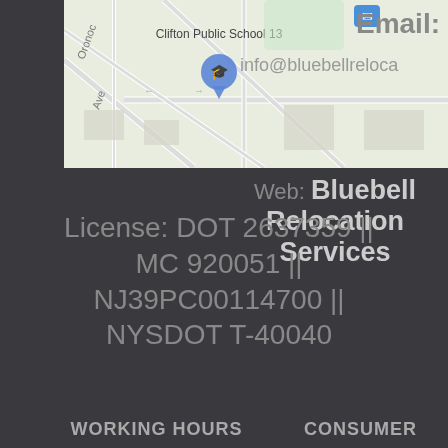[Figure (screenshot): Google Maps screenshot showing Clifton Public School 13, with street map view, school pin icon visible, and street labels including Oron... Ave]
Email: info@bluebellreloca...
Web: Bluebell Relocation Services
License: DOT 2637359 || MC 920051 || NJ39PC00114700 || NYSDOT T-40040
WORKING HOURS
CONSUMER